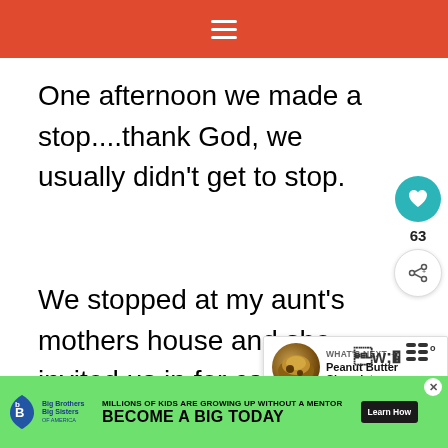☰
One afternoon we made a stop....thank God, we usually didn't get to stop.
We stopped at my aunt's mothers house and she invited us in for cake
I was very excited....released from
[Figure (screenshot): Like button (heart icon, teal circle) with count 63 and share button below]
[Figure (screenshot): What's Next panel showing Peanut Butter Chocolate... with food thumbnail image]
[Figure (screenshot): Advertisement banner: Big Brothers Big Sisters - Millions of kids are growing up without a mentor. Become a Big Today. Learn How button.]